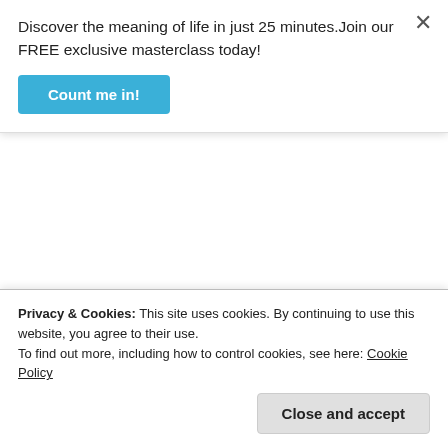Discover the meaning of life in just 25 minutes.Join our FREE exclusive masterclass today!
Count me in!
× (close button)
stane  March 8, 2017 at 6:49 am
I, for one, am convinced
what really got me was that dota forces you to
destroy God the father and his way of life
That I simply cannot do.
In fact, I'll never play any videogame again,
ever (reason 5&4)
Privacy & Cookies: This site uses cookies. By continuing to use this website, you agree to their use.
To find out more, including how to control cookies, see here: Cookie Policy
Close and accept